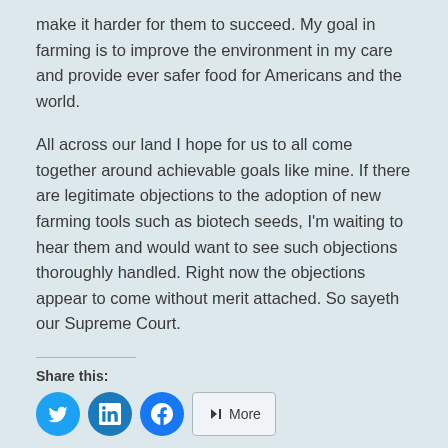make it harder for them to succeed. My goal in farming is to improve the environment in my care and provide ever safer food for Americans and the world.
All across our land I hope for us to all come together around achievable goals like mine. If there are legitimate objections to the adoption of new farming tools such as biotech seeds, I'm waiting to hear them and would want to see such objections thoroughly handled. Right now the objections appear to come without merit attached. So sayeth our Supreme Court.
Share this: